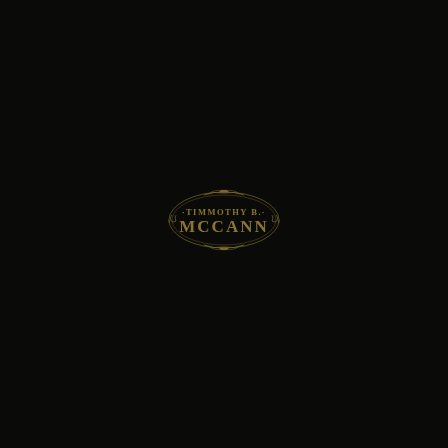[Figure (logo): Timmothy B. McCann ornate logo with decorative scroll border in gold/dark gold on black background. Text reads 'TIMMOTHY B.' on top line and 'MCCANN' in larger serif font below, enclosed in an ornamental frame with flourishes.]